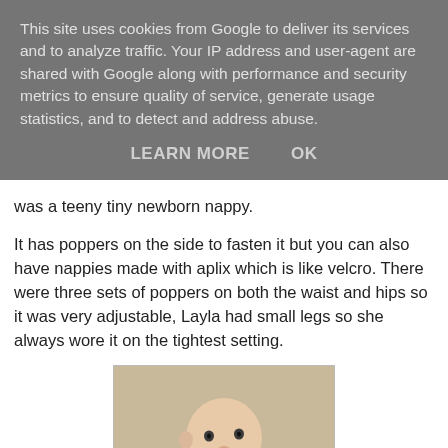This site uses cookies from Google to deliver its services and to analyze traffic. Your IP address and user-agent are shared with Google along with performance and security metrics to ensure quality of service, generate usage statistics, and to detect and address abuse.
LEARN MORE   OK
was a teeny tiny newborn nappy.
It has poppers on the side to fasten it but you can also have nappies made with aplix which is like velcro. There were three sets of poppers on both the waist and hips so it was very adjustable, Layla had small legs so she always wore it on the tightest setting.
[Figure (photo): A newborn baby lying on a light beige surface, looking upward with eyes open, arms folded near chest.]